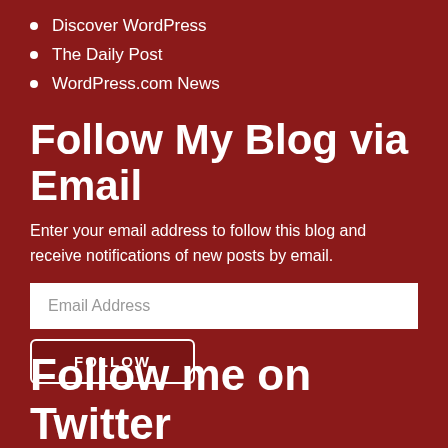Discover WordPress
The Daily Post
WordPress.com News
Follow My Blog via Email
Enter your email address to follow this blog and receive notifications of new posts by email.
Email Address
FOLLOW
Follow me on Twitter